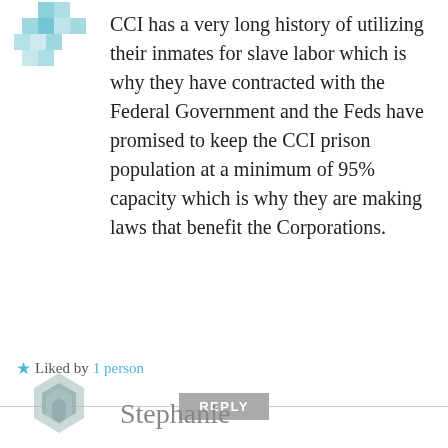[Figure (illustration): Teal geometric/pixel art avatar icon at top left]
CCI has a very long history of utilizing their inmates for slave labor which is why they have contracted with the Federal Government and the Feds have promised to keep the CCI prison population at a minimum of 95% capacity which is why they are making laws that benefit the Corporations.
★ Liked by 1 person
REPLY
[Figure (illustration): Gray geometric/polygon avatar icon at bottom left]
Stephanie